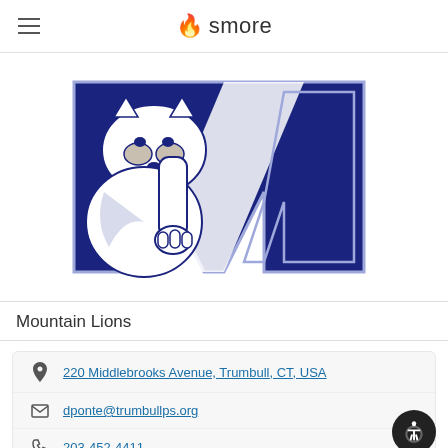smore
[Figure (logo): Mountain Lions school mascot logo: a mountain lion/cougar clasping a large blue letter M with white diagonal stripe. Blue and white color scheme.]
Mountain Lions
220 Middlebrooks Avenue, Trumbull, CT, USA
dponte@trumbullps.org
203-452-4411